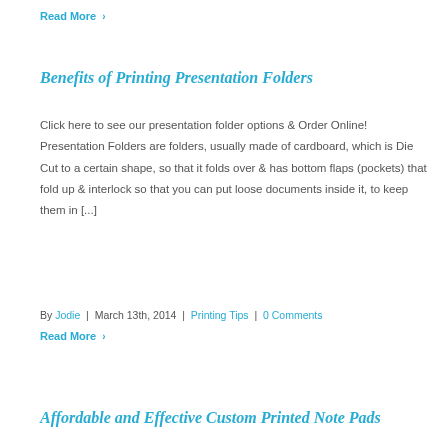Read More >
Benefits of Printing Presentation Folders
Click here to see our presentation folder options & Order Online! Presentation Folders are folders, usually made of cardboard, which is Die Cut to a certain shape, so that it folds over & has bottom flaps (pockets) that fold up & interlock so that you can put loose documents inside it, to keep them in [...]
By Jodie | March 13th, 2014 | Printing Tips | 0 Comments
Read More >
Affordable and Effective Custom Printed Note Pads